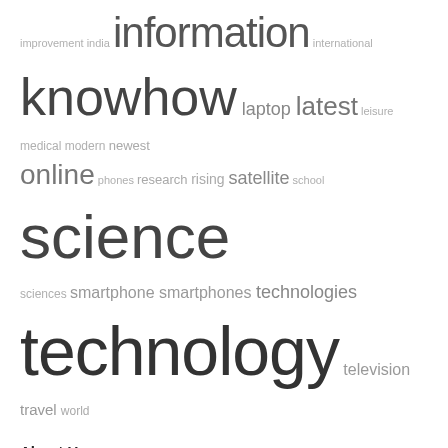[Figure (infographic): A word cloud containing technology-related terms in varying font sizes. Larger words include: information, knowhow, science, technology. Medium words: latest, online, smartphone, smartphones, technologies, television. Smaller words: improvement, india, international, laptop, leisure, medical, modern, newest, phones, research, rising, satellite, school, sciences, travel, world.]
About Us
— Sitemap
— Disclosure Policy
— Advertise Here
— Contact Us